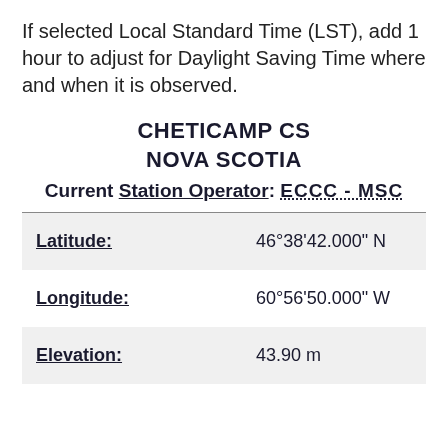If selected Local Standard Time (LST), add 1 hour to adjust for Daylight Saving Time where and when it is observed.
CHETICAMP CS
NOVA SCOTIA
Current Station Operator: ECCC - MSC
| Field | Value |
| --- | --- |
| Latitude: | 46°38'42.000" N |
| Longitude: | 60°56'50.000" W |
| Elevation: | 43.90 m |